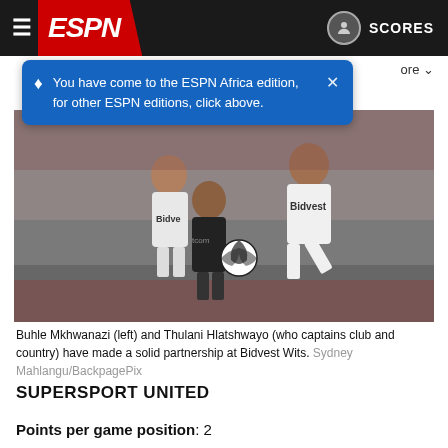ESPN — SCORES
You have come to the ESPN Africa edition, for other ESPN editions, click above.
[Figure (photo): Two Bidvest Wits players in white jerseys competing for the ball against an Orlando Pirates player in dark kit during a South African football match.]
Buhle Mkhwanazi (left) and Thulani Hlatshwayo (who captains club and country) have made a solid partnership at Bidvest Wits. Sydney Mahlangu/BackpagePix
SUPERSPORT UNITED
Points per game position: 2